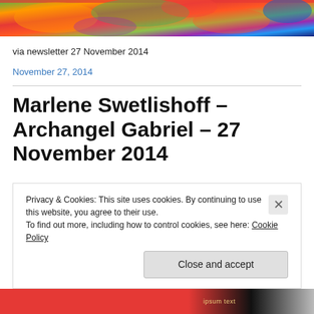[Figure (photo): Colorful abstract/psychedelic header image with vivid greens, oranges, reds, blues]
via newsletter 27 November 2014
November 27, 2014
Marlene Swetlishoff – Archangel Gabriel – 27 November 2014
Privacy & Cookies: This site uses cookies. By continuing to use this website, you agree to their use.
To find out more, including how to control cookies, see here: Cookie Policy